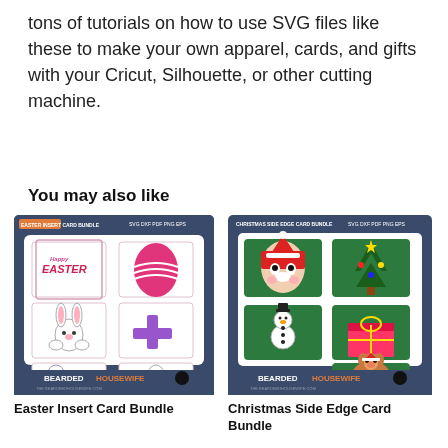tons of tutorials on how to use SVG files like these to make your own apparel, cards, and gifts with your Cricut, Silhouette, or other cutting machine.
You may also like
[Figure (illustration): Easter Insert Card Bundle product image showing SVG card designs with Easter bunny, Easter egg, cross, and character designs on dark blue background with BEARDED HOUSEWIFE branding]
Easter Insert Card Bundle
[Figure (illustration): Christmas Side Edge Card Bundle product image showing Christmas card designs with Santa, Christmas tree, gift box, snowman, and bear on dark blue background with BEARDED HOUSEWIFE branding]
Christmas Side Edge Card Bundle